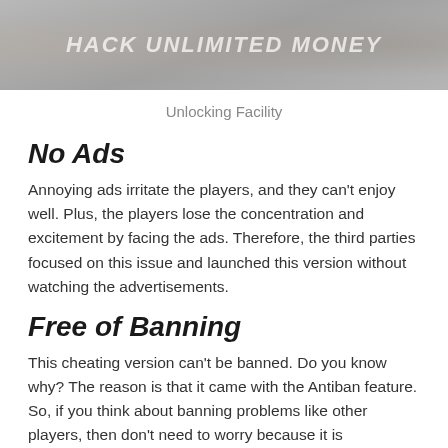[Figure (illustration): Game screenshot or promotional image with text 'HACK UNLIMITED MONEY' overlaid in white italic letters on a grey/dark background]
Unlocking Facility
No Ads
Annoying ads irritate the players, and they can't enjoy well. Plus, the players lose the concentration and excitement by facing the ads. Therefore, the third parties focused on this issue and launched this version without watching the advertisements.
Free of Banning
This cheating version can't be banned. Do you know why? The reason is that it came with the Antiban feature. So, if you think about banning problems like other players, then don't need to worry because it is